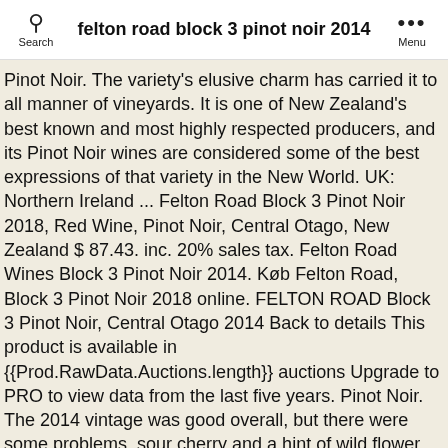felton road block 3 pinot noir 2014
Pinot Noir. The variety's elusive charm has carried it to all manner of vineyards. It is one of New Zealand's best known and most highly respected producers, and its Pinot Noir wines are considered some of the best expressions of that variety in the New World. UK: Northern Ireland ... Felton Road Block 3 Pinot Noir 2018, Red Wine, Pinot Noir, Central Otago, New Zealand $ 87.43. inc. 20% sales tax. Felton Road Wines Block 3 Pinot Noir 2014. Køb Felton Road, Block 3 Pinot Noir 2018 online. FELTON ROAD Block 3 Pinot Noir, Central Otago 2014 Back to details This product is available in {{Prod.RawData.Auctions.length}} auctions Upgrade to PRO to view data from the last five years. Pinot Noir. The 2014 vintage was good overall, but there were some problems. sour cherry and a hint of wild flower that makes it effortlessly delicate and nuanced. Felton Road Block 3 Pinot Noir 2014 (6x75cl) Felton Road is consistently among the top growers in New Zealand, especially when